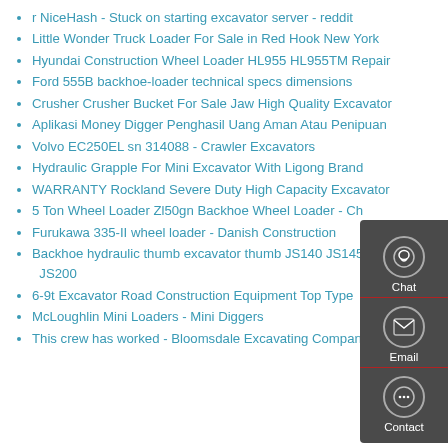r NiceHash - Stuck on starting excavator server - reddit
Little Wonder Truck Loader For Sale in Red Hook New York
Hyundai Construction Wheel Loader HL955 HL955TM Repair
Ford 555B backhoe-loader technical specs dimensions
Crusher Crusher Bucket For Sale Jaw High Quality Excavator
Aplikasi Money Digger Penghasil Uang Aman Atau Penipuan
Volvo EC250EL sn 314088 - Crawler Excavators
Hydraulic Grapple For Mini Excavator With Ligong Brand
WARRANTY Rockland Severe Duty High Capacity Excavator
5 Ton Wheel Loader Zl50gn Backhoe Wheel Loader - Ch
Furukawa 335-II wheel loader - Danish Construction
Backhoe hydraulic thumb excavator thumb JS140 JS145 JS200
6-9t Excavator Road Construction Equipment Top Type
McLoughlin Mini Loaders - Mini Diggers
This crew has worked - Bloomsdale Excavating Company